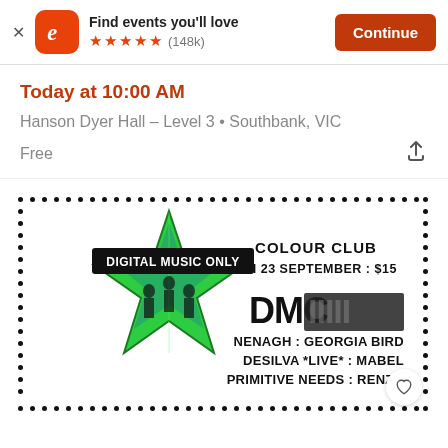Find events you'll love ★★★★★ (148k) Continue
Today at 10:00 AM
Hanson Dyer Hall – Level 3 • Southbank, VIC
Free
[Figure (other): Event ticket flyer with dotted border. Shows a green star with silhouetted figures, 'DIGITAL MUSIC ONLY' label, and text: COLOUR CLUB / FRI 23 SEPTEMBER : $15 / DMC [logo] / NENAGH : GEORGIA BIRD / DESILVA *LIVE* : MABEL / PRIMITIVE NEEDS : RENZO]